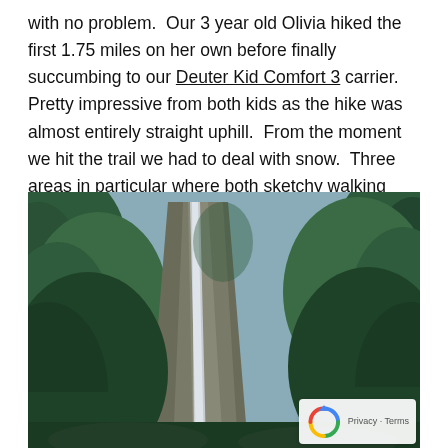with no problem. Our 3 year old Olivia hiked the first 1.75 miles on her own before finally succumbing to our Deuter Kid Comfort 3 carrier. Pretty impressive from both kids as the hike was almost entirely straight uphill. From the moment we hit the trail we had to deal with snow. Three areas in particular where both sketchy walking across and beautiful at the same time.
[Figure (photo): A waterfall cascading down a rocky cliff face surrounded by dense evergreen forest (fir and spruce trees). The scene is lush and green with the waterfall visible in the center-left of the image.]